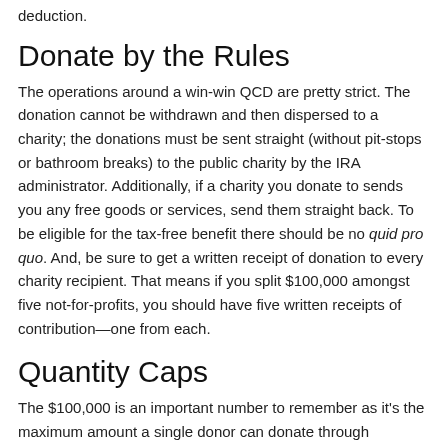deduction.
Donate by the Rules
The operations around a win-win QCD are pretty strict. The donation cannot be withdrawn and then dispersed to a charity; the donations must be sent straight (without pit-stops or bathroom breaks) to the public charity by the IRA administrator. Additionally, if a charity you donate to sends you any free goods or services, send them straight back. To be eligible for the tax-free benefit there should be no quid pro quo. And, be sure to get a written receipt of donation to every charity recipient. That means if you split $100,000 amongst five not-for-profits, you should have five written receipts of contribution—one from each.
Quantity Caps
The $100,000 is an important number to remember as it's the maximum amount a single donor can donate through charitable IRA rollover contributions annually. (If you're